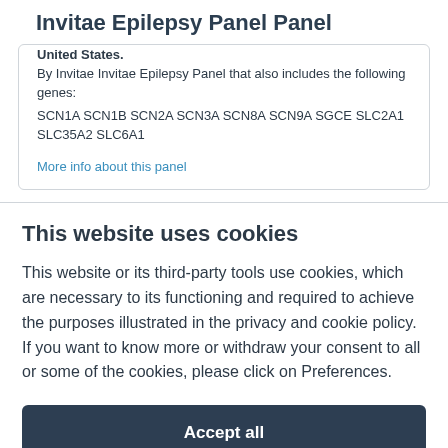Invitae Epilepsy Panel Panel
United States.
By Invitae Invitae Epilepsy Panel that also includes the following genes: SCN1A SCN1B SCN2A SCN3A SCN8A SCN9A SGCE SLC2A1 SLC35A2 SLC6A1
More info about this panel
This website uses cookies
This website or its third-party tools use cookies, which are necessary to its functioning and required to achieve the purposes illustrated in the privacy and cookie policy. If you want to know more or withdraw your consent to all or some of the cookies, please click on Preferences.
Accept all
Preferences